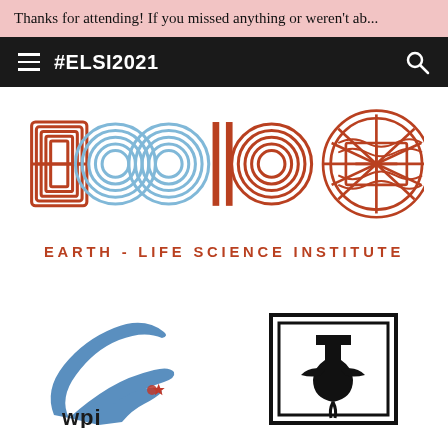Thanks for attending! If you missed anything or weren't ab...
#ELSI2021
[Figure (logo): ELSI - Earth-Life Science Institute logo with stylized letters E, L, S, I in rust/terracotta and light blue colors, with decorative circular emblem on the right]
[Figure (logo): WPI (Worcester Polytechnic Institute) logo - blue bird/eagle swooping design with red star accent and WPI text]
[Figure (logo): Tokyo Institute of Technology logo - black rectangular emblem with stylized figure/symbol inside]